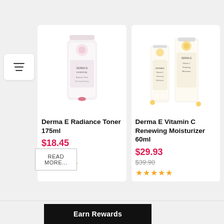[Figure (photo): Derma E Radiance Toner 175ml product image showing a white/pink bottle]
Derma E Radiance Toner 175ml
$18.45
$24.60
[Figure (photo): Derma E Vitamin C Renewing Moisturizer 60ml product image showing golden/white bottles]
Derma E Vitamin C Renewing Moisturizer 60ml
$29.93
$39.90
READ MORE...
Earn Rewards